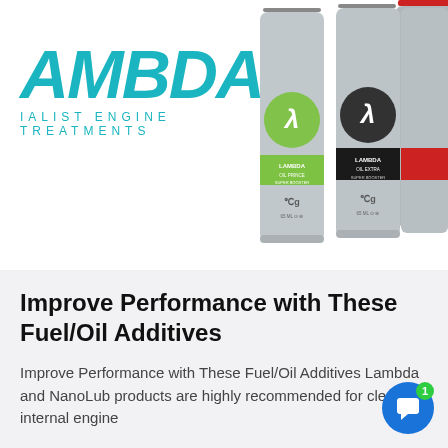[Figure (logo): AMBDA logo in teal/cyan italic bold font with tagline 'IALIST ENGINE TREATMENTS' in spaced teal letters below]
[Figure (photo): Product cans of Lambda Oil Prince Super Booster (green label) and Lambda Oil Extra Super Booster (black label) displayed side by side, silver aerosol cans with Lambda lambda symbol]
Improve Performance with These Fuel/Oil Additives
Improve Performance with These Fuel/Oil Additives Lambda and NanoLub products are highly recommended for cleaning internal engine